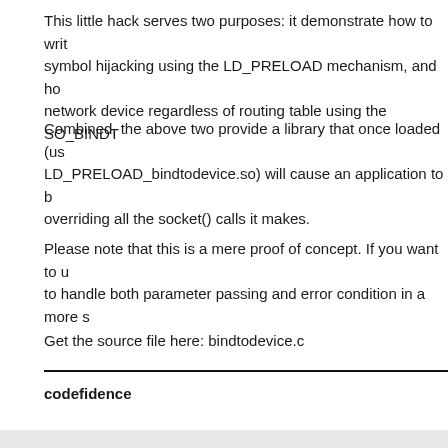This little hack serves two purposes: it demonstrate how to write symbol hijacking using the LD_PRELOAD mechanism, and how to bind to a network device regardless of routing table using the SO_BINDTODEVICE.
Combined, the above two provide a library that once loaded (using LD_PRELOAD_bindtodevice.so) will cause an application to bind to a device overriding all the socket() calls it makes.
Please note that this is a mere proof of concept. If you want to use it, to handle both parameter passing and error condition in a more sophisticated way.
Get the source file here: bindtodevice.c
codefidence